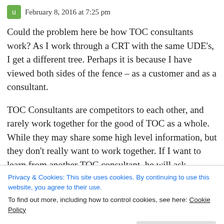February 8, 2016 at 7:25 pm
Could the problem here be how TOC consultants work? As I work through a CRT with the same UDE's, I get a different tree. Perhaps it is because I have viewed both sides of the fence – as a customer and as a consultant.
TOC Consultants are competitors to each other, and rarely work together for the good of TOC as a whole. While they may share some high level information, but they don't really want to work together. If I want to learn from another TOC consultant, he will ask
Privacy & Cookies: This site uses cookies. By continuing to use this website, you agree to their use.
To find out more, including how to control cookies, see here: Cookie Policy
Close and accept
have to acknowledge that one of their competitors is